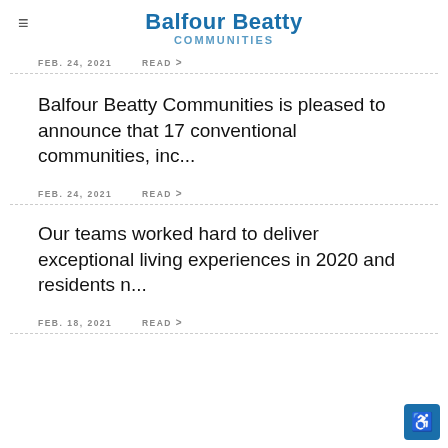Balfour Beatty Communities
FEB. 24, 2021   READ >
Balfour Beatty Communities is pleased to announce that 17 conventional communities, inc...
FEB. 24, 2021   READ >
Our teams worked hard to deliver exceptional living experiences in 2020 and residents n...
FEB. 18, 2021   READ >